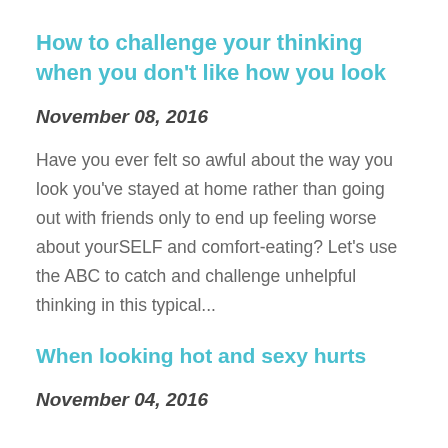How to challenge your thinking when you don't like how you look
November 08, 2016
Have you ever felt so awful about the way you look you've stayed at home rather than going out with friends only to end up feeling worse about yourSELF and comfort-eating? Let's use the ABC to catch and challenge unhelpful thinking in this typical...
When looking hot and sexy hurts
November 04, 2016